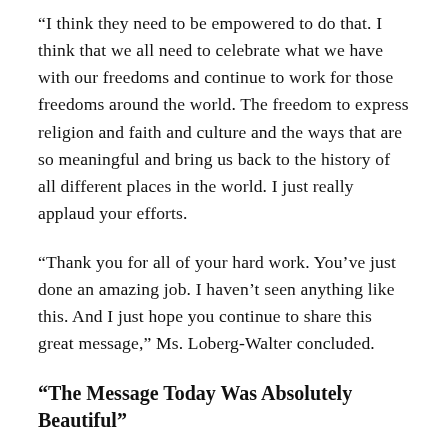“I think they need to be empowered to do that. I think that we all need to celebrate what we have with our freedoms and continue to work for those freedoms around the world. The freedom to express religion and faith and culture and the ways that are so meaningful and bring us back to the history of all different places in the world. I just really applaud your efforts.
“Thank you for all of your hard work. You’ve just done an amazing job. I haven’t seen anything like this. And I just hope you continue to share this great message,” Ms. Loberg-Walter concluded.
“The Message Today Was Absolutely Beautiful”